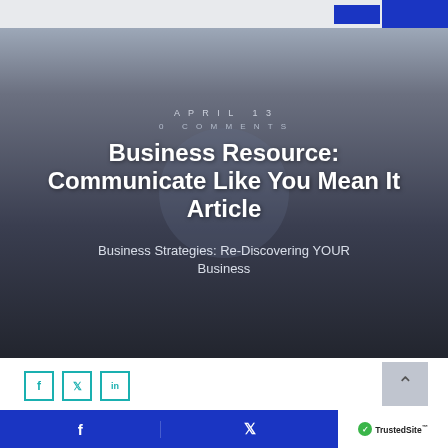APRIL 13
0 COMMENTS
Business Resource: Communicate Like You Mean It Article
Business Strategies: Re-Discovering YOUR Business
[Figure (other): Social share icons: Facebook, Twitter, LinkedIn square outline buttons in teal color]
YOUR Business Rescue Coach asks: